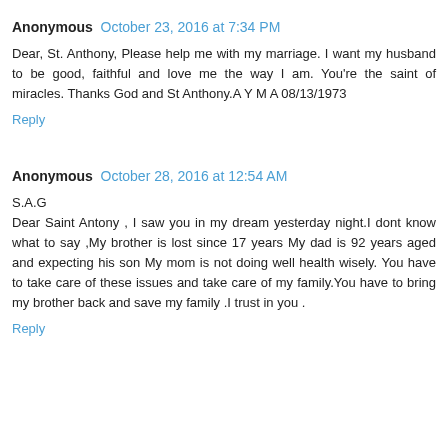Anonymous  October 23, 2016 at 7:34 PM
Dear, St. Anthony, Please help me with my marriage. I want my husband to be good, faithful and love me the way I am. You're the saint of miracles. Thanks God and St Anthony.A Y M A 08/13/1973
Reply
Anonymous  October 28, 2016 at 12:54 AM
S.A.G
Dear Saint Antony , I saw you in my dream yesterday night.I dont know what to say ,My brother is lost since 17 years My dad is 92 years aged and expecting his son My mom is not doing well health wisely. You have to take care of these issues and take care of my family.You have to bring my brother back and save my family .I trust in you .
Reply